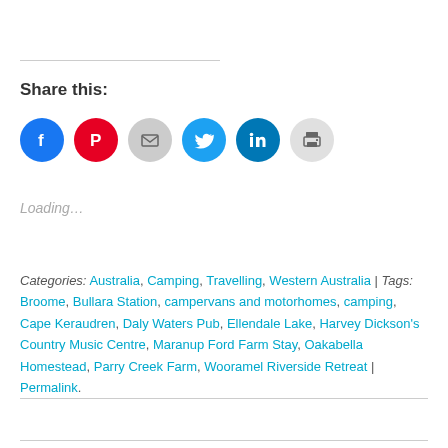Share this:
[Figure (infographic): Row of social share icon buttons: Facebook (blue circle), Pinterest (red circle), Email (grey circle), Twitter (cyan circle), LinkedIn (dark blue circle), Print (light grey circle)]
Loading…
Categories: Australia, Camping, Travelling, Western Australia | Tags: Broome, Bullara Station, campervans and motorhomes, camping, Cape Keraudren, Daly Waters Pub, Ellendale Lake, Harvey Dickson's Country Music Centre, Maranup Ford Farm Stay, Oakabella Homestead, Parry Creek Farm, Wooramel Riverside Retreat | Permalink.